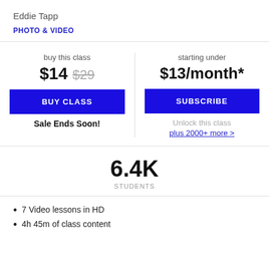Eddie Tapp
PHOTO & VIDEO
buy this class
$14  $29
starting under
$13/month*
BUY CLASS
SUBSCRIBE
Sale Ends Soon!
Unlock this class
plus 2000+ more >
6.4K
STUDENTS
7 Video lessons in HD
4h 45m of class content